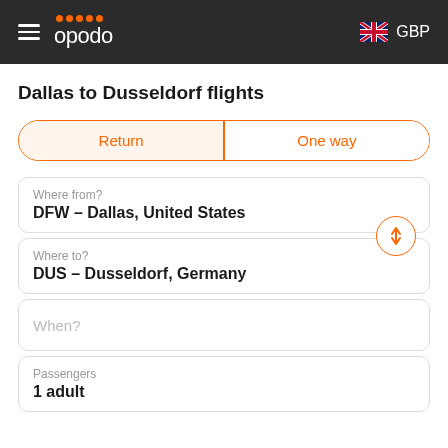opodo GBP
Dallas to Dusseldorf flights
Return | One way
Where from?
DFW – Dallas, United States
Where to?
DUS – Dusseldorf, Germany
When?
Passengers
1 adult